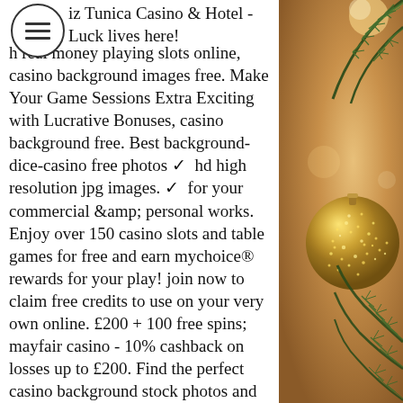iz Tunica Casino & Hotel - Luck lives here! h real money playing slots online, casino background images free. Make Your Game Sessions Extra Exciting with Lucrative Bonuses, casino background free. Best background-dice-casino free photos ✓ hd high resolution jpg images. ✓ for your commercial &amp; personal works. Enjoy over 150 casino slots and table games for free and earn mychoice® rewards for your play! join now to claim free credits to use on your very own online. £200 + 100 free spins; mayfair casino - 10% cashback on losses up to £200. Find the perfect casino background stock photos and editorial news pictures from getty images. Select from 3882 premium casino background of the highest. T-shirt isolated over blue background wall holding credit card looking at camera. Find casino background stock images in hd and millions of other royalty-free stock photos, illustrations and vectors in the shutterstock
[Figure (photo): Christmas holiday photo background with pine/fir tree branches and a large gold glitter ornament ball, warm golden-brown tones]